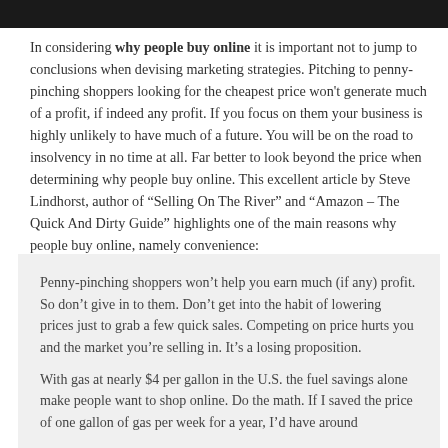[Figure (photo): Dark/black image bar at top of page, partial crop of an image above]
In considering why people buy online it is important not to jump to conclusions when devising marketing strategies. Pitching to penny-pinching shoppers looking for the cheapest price won't generate much of a profit, if indeed any profit. If you focus on them your business is highly unlikely to have much of a future. You will be on the road to insolvency in no time at all. Far better to look beyond the price when determining why people buy online. This excellent article by Steve Lindhorst, author of “Selling On The River” and “Amazon – The Quick And Dirty Guide” highlights one of the main reasons why people buy online, namely convenience:
Penny-pinching shoppers won’t help you earn much (if any) profit. So don’t give in to them. Don’t get into the habit of lowering prices just to grab a few quick sales. Competing on price hurts you and the market you’re selling in. It’s a losing proposition.
With gas at nearly $4 per gallon in the U.S. the fuel savings alone make people want to shop online. Do the math. If I saved the price of one gallon of gas per week for a year, I’d have around